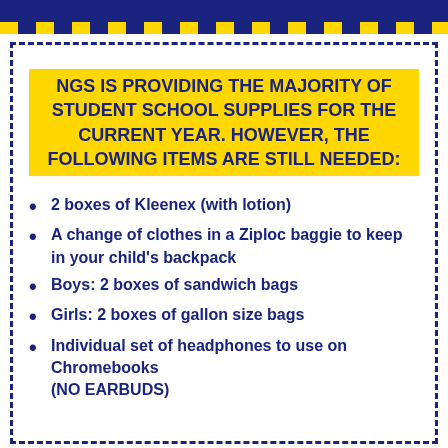NGS IS PROVIDING THE MAJORITY OF STUDENT SCHOOL SUPPLIES FOR THE CURRENT YEAR. HOWEVER, THE FOLLOWING ITEMS ARE STILL NEEDED:
2 boxes of Kleenex (with lotion)
A change of clothes in a Ziploc baggie to keep in your child's backpack
Boys: 2 boxes of sandwich bags
Girls: 2 boxes of gallon size bags
Individual set of headphones to use on Chromebooks (NO EARBUDS)